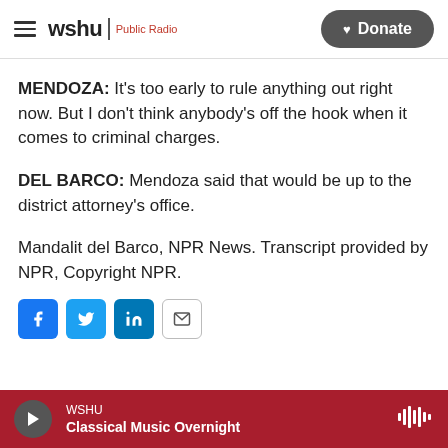WSHU Public Radio | Donate
MENDOZA: It's too early to rule anything out right now. But I don't think anybody's off the hook when it comes to criminal charges.
DEL BARCO: Mendoza said that would be up to the district attorney's office.
Mandalit del Barco, NPR News. Transcript provided by NPR, Copyright NPR.
[Figure (other): Social sharing buttons: Facebook, Twitter, LinkedIn, Email]
WSHU — Classical Music Overnight (audio player bar)